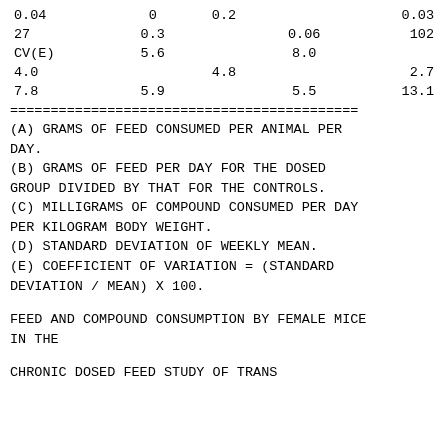| 0.04 | 0 | 0.2 |  | 0.03 |
| 27 | 0.3 |  | 0.06 | 102 |
| CV(E) | 5.6 |  | 8.0 |  |
| 4.0 |  | 4.8 |  | 2.7 |
| 7.8 | 5.9 |  | 5.5 | 13.1 |
(A) GRAMS OF FEED CONSUMED PER ANIMAL PER DAY.
(B) GRAMS OF FEED PER DAY FOR THE DOSED GROUP DIVIDED BY THAT FOR THE CONTROLS.
(C) MILLIGRAMS OF COMPOUND CONSUMED PER DAY PER KILOGRAM BODY WEIGHT.
(D) STANDARD DEVIATION OF WEEKLY MEAN.
(E) COEFFICIENT OF VARIATION = (STANDARD DEVIATION / MEAN) X 100.
FEED AND COMPOUND CONSUMPTION BY FEMALE MICE IN THE
CHRONIC DOSED FEED STUDY OF TRANS